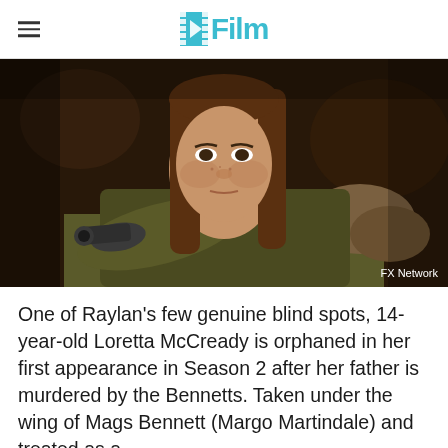/Film
[Figure (photo): A teenage girl with long brown hair pointing a gun toward the camera, wearing an olive green jacket with fur trim. Dark indoor setting. Credit: FX Network.]
FX Network
One of Raylan's few genuine blind spots, 14-year-old Loretta McCready is orphaned in her first appearance in Season 2 after her father is murdered by the Bennetts. Taken under the wing of Mags Bennett (Margo Martindale) and treated as a